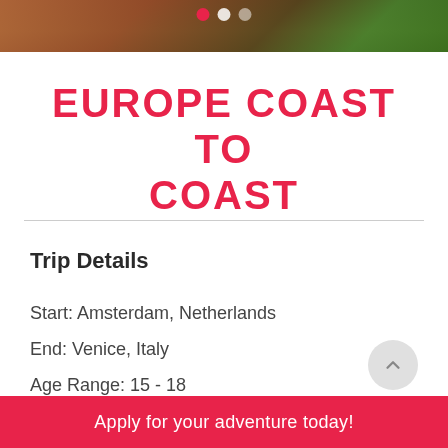[Figure (photo): Photo strip at top showing people outdoors with green trees/foliage in background, with carousel navigation dots (pink, white, light gray)]
EUROPE COAST TO COAST
Trip Details
Start: Amsterdam, Netherlands
End: Venice, Italy
Age Range: 15 - 18
Apply for your adventure today!